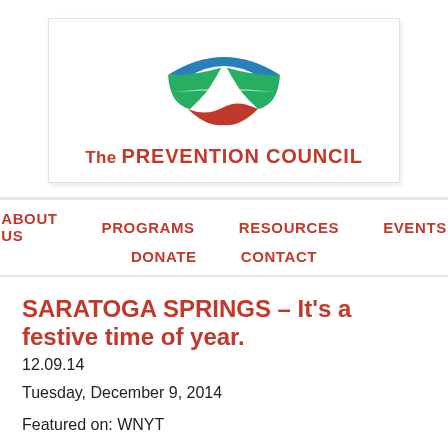[Figure (logo): The Prevention Council logo: abstract landscape icon with blue, green, and red swooping shapes, with text 'The PREVENTION COUNCIL' in red below]
ABOUT US   PROGRAMS   RESOURCES   EVENTS   DONATE   CONTACT
SARATOGA SPRINGS – It's a festive time of year.
12.09.14
Tuesday, December 9, 2014
Featured on: WNYT